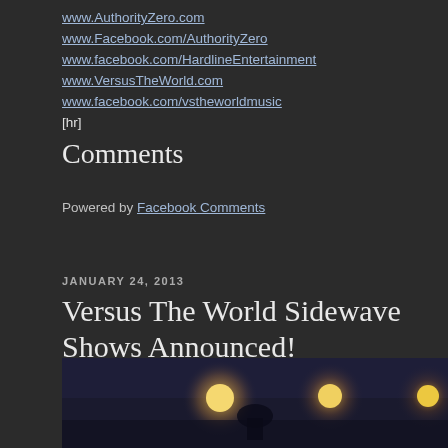www.AuthorityZero.com
www.Facebook.com/AuthorityZero
www.facebook.com/HardlineEntertainment
www.VersusTheWorld.com
www.facebook.com/vstheworldmusic
[hr]
Comments
Powered by Facebook Comments
JANUARY 24, 2013
Versus The World Sidewave Shows Announced!
[Figure (photo): Concert stage photo with lights and performer silhouette]